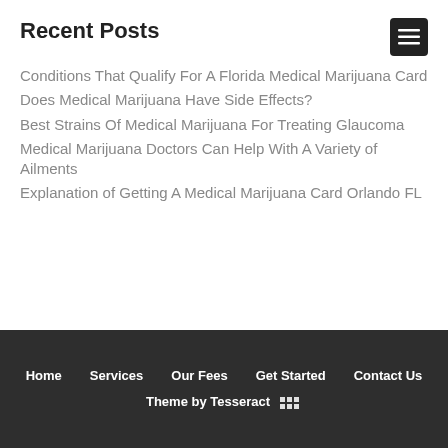Recent Posts
Conditions That Qualify For A Florida Medical Marijuana Card
Does Medical Marijuana Have Side Effects?
Best Strains Of Medical Marijuana For Treating Glaucoma
Medical Marijuana Doctors Can Help With A Variety of Ailments
Explanation of Getting A Medical Marijuana Card Orlando FL
Home   Services   Our Fees   Get Started   Contact Us
Theme by Tesseract